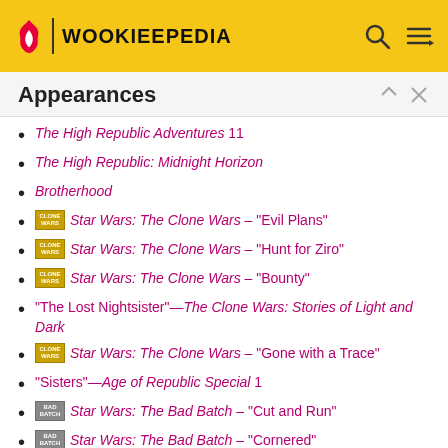WOOKIEEPEDIA
Appearances
The High Republic Adventures 11
The High Republic: Midnight Horizon
Brotherhood
Star Wars: The Clone Wars – "Evil Plans"
Star Wars: The Clone Wars – "Hunt for Ziro"
Star Wars: The Clone Wars – "Bounty"
"The Lost Nightsister"—The Clone Wars: Stories of Light and Dark
Star Wars: The Clone Wars – "Gone with a Trace"
"Sisters"—Age of Republic Special 1
Star Wars: The Bad Batch – "Cut and Run"
Star Wars: The Bad Batch – "Cornered"
Star Wars: The Bad Batch – "Rampage"